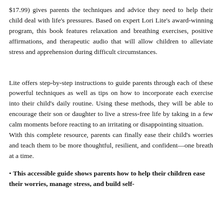$17.99) gives parents the techniques and advice they need to help their child deal with life's pressures. Based on expert Lori Lite's award-winning program, this book features relaxation and breathing exercises, positive affirmations, and therapeutic audio that will allow children to alleviate stress and apprehension during difficult circumstances.
Lite offers step-by-step instructions to guide parents through each of these powerful techniques as well as tips on how to incorporate each exercise into their child's daily routine. Using these methods, they will be able to encourage their son or daughter to live a stress-free life by taking in a few calm moments before reacting to an irritating or disappointing situation.
With this complete resource, parents can finally ease their child's worries and teach them to be more thoughtful, resilient, and confident—one breath at a time.
• This accessible guide shows parents how to help their children ease their worries, manage stress, and build self-